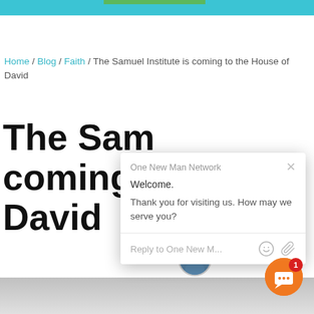Top navigation bar with teal background and green button
Home / Blog / Faith / The Samuel Institute is coming to the House of David
The Samuel Institute is coming to the House of David
July 17, 2016 by Curt L…
[Figure (screenshot): Chat popup from One New Man Network with welcome message: 'Welcome. Thank you for visiting us. How may we serve you?' and a reply input field with emoji and attachment icons]
[Figure (other): Orange circular chat launcher button with red badge showing count 1]